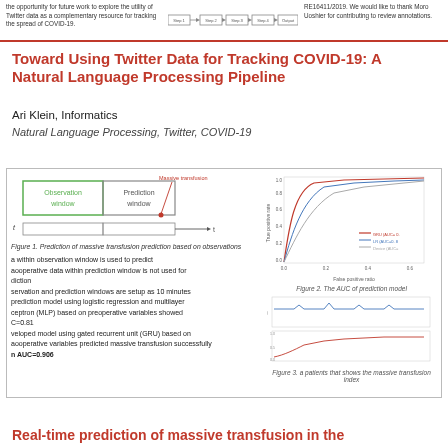[Figure (screenshot): Top strip showing previous paper partial content with pipeline flowchart and text columns]
Toward Using Twitter Data for Tracking COVID-19: A Natural Language Processing Pipeline
Ari Klein, Informatics
Natural Language Processing, Twitter, COVID-19
[Figure (other): Paper card showing prediction window diagram with Observation window and Prediction window boxes, bullet points about model, and ROC curve (AUC chart) and time-series patient chart on the right]
Figure 1. Prediction of massive transfusion prediction based on observations
Figure 2. The AUC of prediction model
Figure 3. a patients that shows the massive transfusion index
Real-time prediction of massive transfusion in the